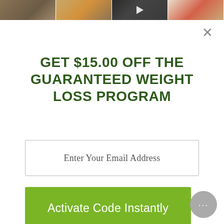[Figure (photo): Top strip of four social media style thumbnail images: a woven texture, drink cups, a person with a hat (video with play button), and a bowl of food]
GET $15.00 OFF THE GUARANTEED WEIGHT LOSS PROGRAM
[Figure (other): Email input field with placeholder text: Enter Your Email Address]
[Figure (other): Green button labeled Activate Code Instantly]
[Figure (other): Gray circular chat bubble button with three dots in lower right corner]